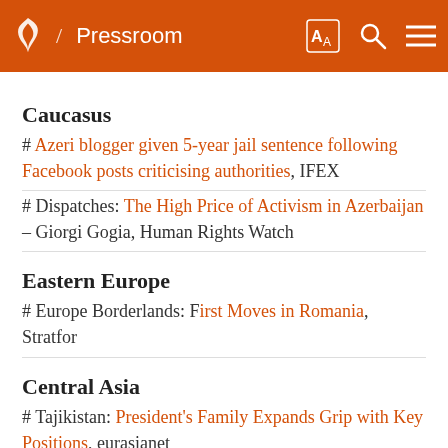/ Pressroom
Caucasus
# Azeri blogger given 5-year jail sentence following Facebook posts criticising authorities, IFEX
# Dispatches: The High Price of Activism in Azerbaijan – Giorgi Gogia, Human Rights Watch
Eastern Europe
# Europe Borderlands: First Moves in Romania, Stratfor
Central Asia
# Tajikistan: President's Family Expands Grip with Key Positions, eurasianet
Iran